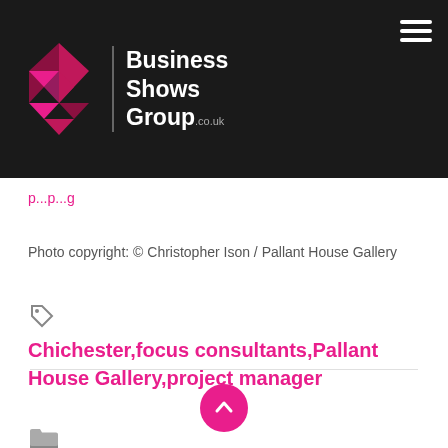[Figure (logo): Business Shows Group logo with pink/magenta triangular geometric icon and white text on dark background]
p...p...g (partial pink link text, partially obscured)
Photo copyright: © Christopher Ison / Pallant House Gallery
Chichester,focus consultants,Pallant House Gallery,project manager
Business,Consultants,Development,leisure,Property